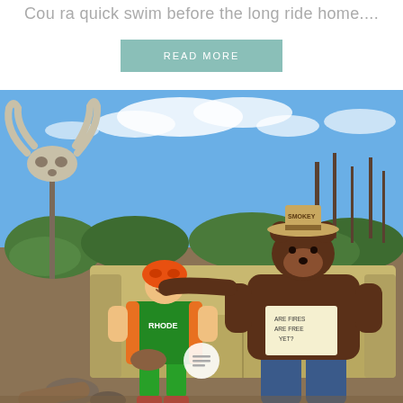Cou ra quick swim before the long ride home....
READ MORE
[Figure (photo): A cyclist in orange helmet and green/orange cycling kit sits on an old couch outdoors next to a Smokey Bear mascot costume character. A cow skull on a stick is visible to the left. The background shows burnt trees and blue sky. The cyclist is smiling and Smokey Bear has a handwritten sign on his chest.]